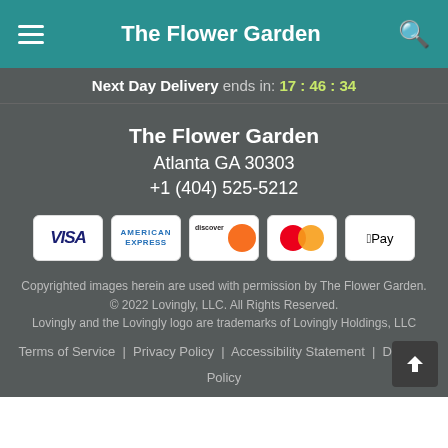The Flower Garden
Next Day Delivery ends in: 17 : 46 : 34
The Flower Garden
Atlanta GA 30303
+1 (404) 525-5212
[Figure (other): Payment method icons: Visa, American Express, Discover, Mastercard, Apple Pay]
Copyrighted images herein are used with permission by The Flower Garden.
© 2022 Lovingly, LLC. All Rights Reserved.
Lovingly and the Lovingly logo are trademarks of Lovingly Holdings, LLC
Terms of Service | Privacy Policy | Accessibility Statement | Delivery Policy